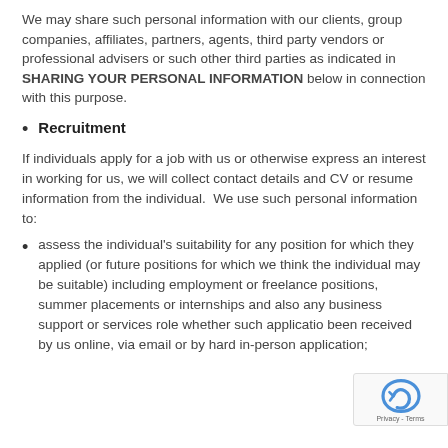We may share such personal information with our clients, group companies, affiliates, partners, agents, third party vendors or professional advisers or such other third parties as indicated in SHARING YOUR PERSONAL INFORMATION below in connection with this purpose.
Recruitment
If individuals apply for a job with us or otherwise express an interest in working for us, we will collect contact details and CV or resume information from the individual. We use such personal information to:
assess the individual's suitability for any position for which they applied (or future positions for which we think the individual may be suitable) including employment or freelance positions, summer placements or internships and also any business support or services role whether such application been received by us online, via email or by hard in-person application;